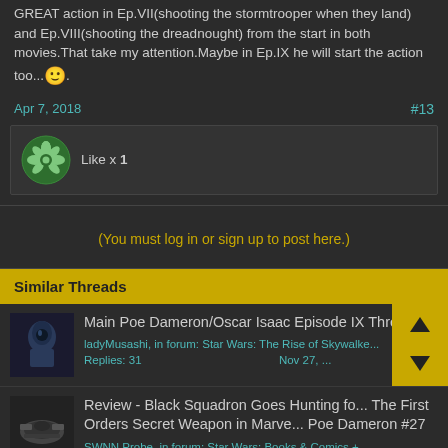GREAT action in Ep.VII(shooting the stormtrooper when they land) and Ep.VIII(shooting the dreadnought) from the start in both movies.That take my attention.Maybe in Ep.IX he will start the action too...🙂.
Apr 7, 2018  #13
Like x 1
(You must log in or sign up to post here.)
Similar Threads
Main Poe Dameron/Oscar Isaac Episode IX Thread
ladyMusashi, in forum: Star Wars: The Rise of Skywalker
Replies: 31  Nov 27, ...
Review - Black Squadron Goes Hunting for The First Orders Secret Weapon in Marvel Poe Dameron #27
SWNN Probe, in forum: Star Wars: Books & Comics + ...